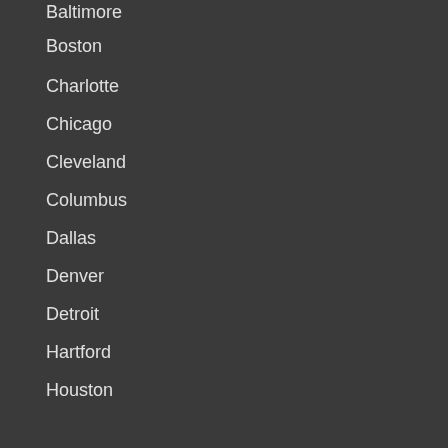Baltimore
Boston
Charlotte
Chicago
Cleveland
Columbus
Dallas
Denver
Detroit
Hartford
Houston
Los Angeles
Miami
Minneapolis